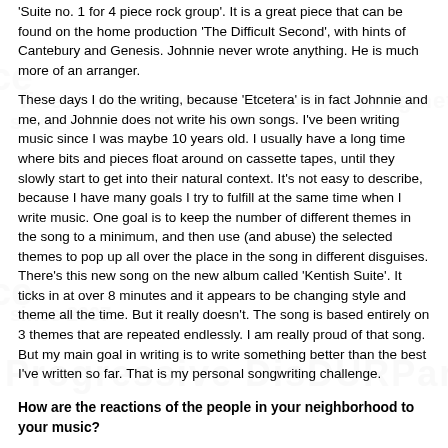'Suite no. 1 for 4 piece rock group'. It is a great piece that can be found on the home production 'The Difficult Second', with hints of Cantebury and Genesis. Johnnie never wrote anything. He is much more of an arranger.
These days I do the writing, because 'Etcetera' is in fact Johnnie and me, and Johnnie does not write his own songs. I've been writing music since I was maybe 10 years old. I usually have a long time where bits and pieces float around on cassette tapes, until they slowly start to get into their natural context. It's not easy to describe, because I have many goals I try to fulfill at the same time when I write music. One goal is to keep the number of different themes in the song to a minimum, and then use (and abuse) the selected themes to pop up all over the place in the song in different disguises. There's this new song on the new album called 'Kentish Suite'. It ticks in at over 8 minutes and it appears to be changing style and theme all the time. But it really doesn't. The song is based entirely on 3 themes that are repeated endlessly. I am really proud of that song. But my main goal in writing is to write something better than the best I've written so far. That is my personal songwriting challenge.
How are the reactions of the people in your neighborhood to your music?
Reactions depend very much on who you ask. Most people react as if the music does make some impression on them. I am particularly fond that musicians always react impressed. But it would be nice if the music also had some immediate appeal, and not just a cerebral, like a nice song that earns its merits from just being a nice song, and not a cunningly complex arrangement. That is the quality of Michaels songs.